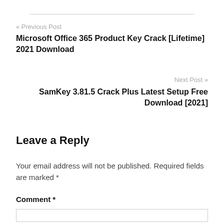« Previous Post
Microsoft Office 365 Product Key Crack [Lifetime] 2021 Download
Next Post »
SamKey 3.81.5 Crack Plus Latest Setup Free Download [2021]
Leave a Reply
Your email address will not be published. Required fields are marked *
Comment *